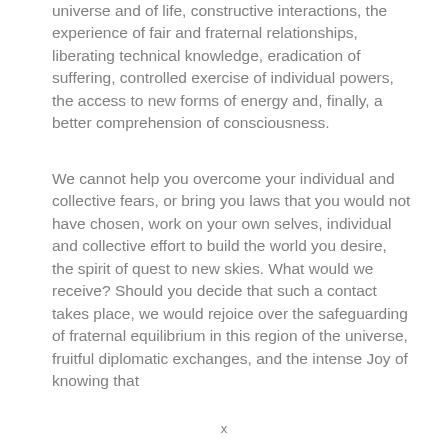universe and of life, constructive interactions, the experience of fair and fraternal relationships, liberating technical knowledge, eradication of suffering, controlled exercise of individual powers, the access to new forms of energy and, finally, a better comprehension of consciousness.
We cannot help you overcome your individual and collective fears, or bring you laws that you would not have chosen, work on your own selves, individual and collective effort to build the world you desire, the spirit of quest to new skies. What would we receive? Should you decide that such a contact takes place, we would rejoice over the safeguarding of fraternal equilibrium in this region of the universe, fruitful diplomatic exchanges, and the intense Joy of knowing that
x